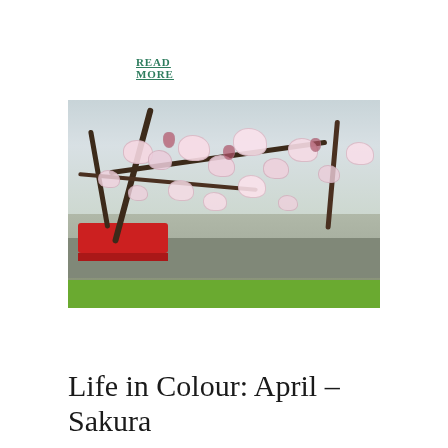READ MORE
[Figure (photo): Close-up photograph of cherry blossom (sakura) branches in bloom with pale pink flowers and dark reddish buds. Background shows blurred trees, a red bus on a road, and green grass.]
Life in Colour: April – Sakura